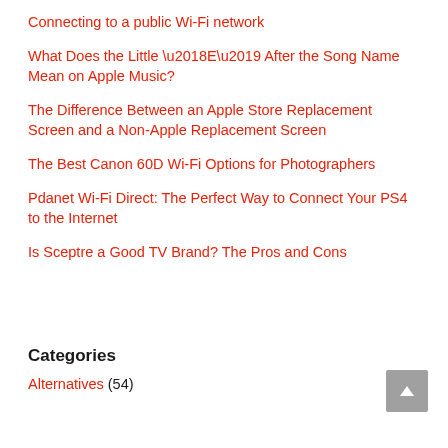Connecting to a public Wi-Fi network
What Does the Little ‘E’ After the Song Name Mean on Apple Music?
The Difference Between an Apple Store Replacement Screen and a Non-Apple Replacement Screen
The Best Canon 60D Wi-Fi Options for Photographers
Pdanet Wi-Fi Direct: The Perfect Way to Connect Your PS4 to the Internet
Is Sceptre a Good TV Brand? The Pros and Cons
Categories
Alternatives (54)